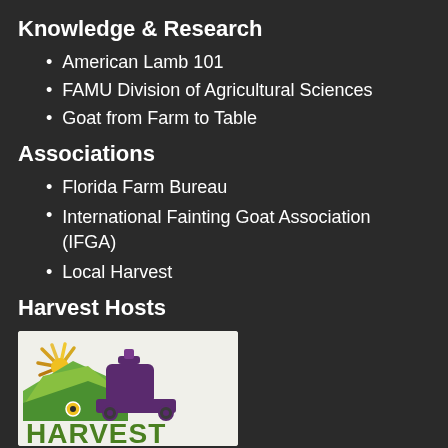Knowledge & Research
American Lamb 101
FAMU Division of Agricultural Sciences
Goat from Farm to Table
Associations
Florida Farm Bureau
International Fainting Goat Association (IFGA)
Local Harvest
Harvest Hosts
[Figure (logo): Harvest Hosts logo showing a sun/farm icon and a wine bottle silhouette on a camper/RV, with the text HARVEST in large green letters at the bottom]